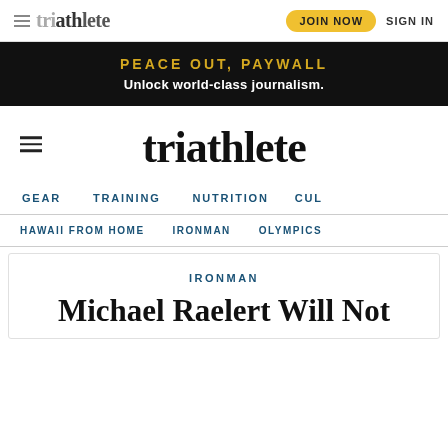triathlete — JOIN NOW  SIGN IN
PEACE OUT, PAYWALL — Unlock world-class journalism.
[Figure (logo): Triathlete logo in large bold font]
GEAR  TRAINING  NUTRITION  CUL
HAWAII FROM HOME  IRONMAN  OLYMPICS
IRONMAN
Michael Raelert Will Not